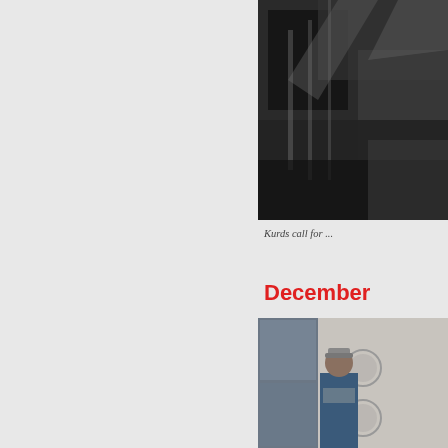[Figure (photo): Black and white photograph showing people, flags or banners, partially cropped at top right of page]
Kurds call for ...
December
[Figure (photo): Color photograph of a person wearing a blue jacket and grey cap standing in front of a building with circular windows/decorations, partially cropped at right edge]